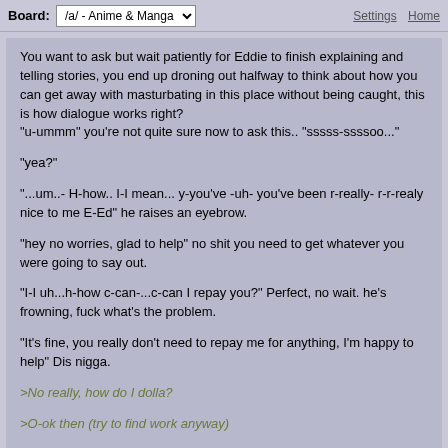Board: /a/ - Anime & Manga   Settings  Home
You want to ask but wait patiently for Eddie to finish explaining and telling stories, you end up droning out halfway to think about how you can get away with masturbating in this place without being caught, this is how dialogue works right?
"u-ummm" you're not quite sure now to ask this.. "sssss-ssssoo..."
"yea?"
"...um..- H-how.. I-I mean... y-you've -uh- you've been r-really- r-r-realy nice to me E-Ed" he raises an eyebrow.
"hey no worries, glad to help" no shit you need to get whatever you were going to say out.
"I-I uh...h-how c-can-...c-can I repay you?" Perfect, no wait. he's frowning, fuck what's the problem.
"It's fine, you really don't need to repay me for anything, I'm happy to help" Dis nigga.
>No really, how do I dolla?
>O-ok then (try to find work anyway)
>Disgard the other two options OP has nothing. Write in (please choose this one)